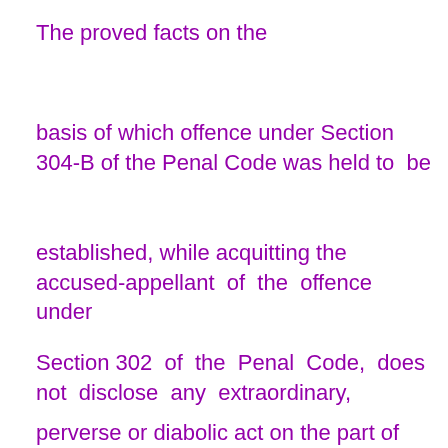The proved facts on the
basis of which offence under Section 304-B of the Penal Code was held to be
established, while acquitting the accused-appellant of the offence under
Section 302 of the Penal Code, does not disclose any extraordinary,
perverse or diabolic act on the part of the accused